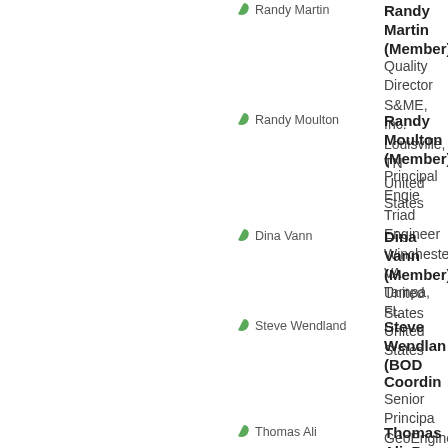Randy Martin (Member)
Quality Director
S&ME, Inc.
Louisville, TN
United States
Randy Moulton (Member)
Principal Engineer
Triad Engineers
Winchester, VA
United States
Dina Vann (Member)
Tampa, FL
United States
Steve Wendland (BOD Coordinator)
Senior Principal
GeoEngineers
Overland Park
United States
Thomas Ali, P...